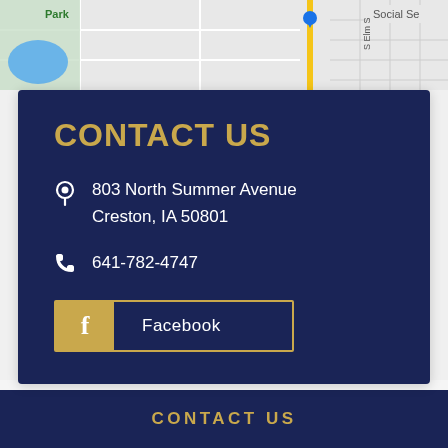[Figure (map): Street map showing Park area with roads, a blue lake/pond, green park area, and partial text 'Social Se...' visible on right side]
CONTACT US
803 North Summer Avenue
Creston, IA 50801
641-782-4747
Facebook
ABOUT US
PREVENTIVE CARE
CONTACT US